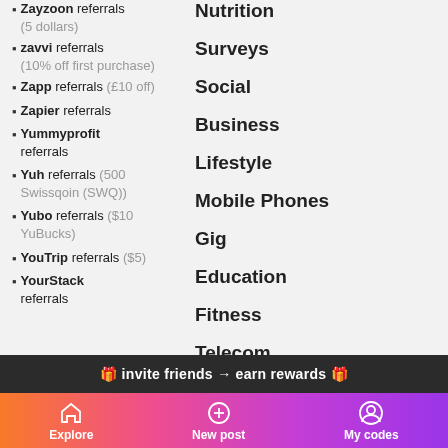Zayzoon referrals (5 dollars)
zavvi referrals (10% off first purchase)
Zapp referrals (£10 off)
Zapier referrals
Yummyprofit referrals
Yuh referrals (500 Swissqoin (SWQ))
Yubo referrals ($10 YuBucks)
YouTrip referrals ($5)
YourStack referrals
Nutrition
Surveys
Social
Business
Lifestyle
Mobile Phones
Gig
Education
Fitness
Telecom
🎁 invite friends → earn rewards 🎁
Explore  New post  My codes